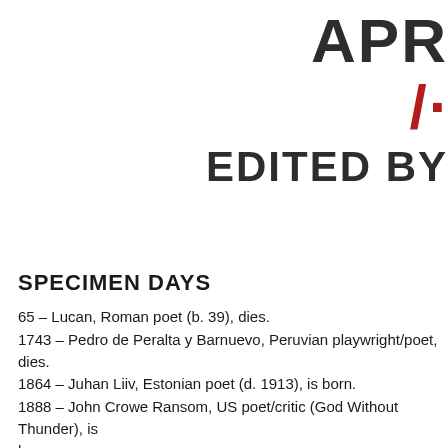APR
/·
EDITED BY
SPECIMEN DAYS
65 – Lucan, Roman poet (b. 39), dies.
1743 – Pedro de Peralta y Barnuevo, Peruvian playwright/poet, dies.
1864 – Juhan Liiv, Estonian poet (d. 1913), is born.
1888 – John Crowe Ransom, US poet/critic (God Without Thunder), is born.
1922 – David M. Chumaceiro, Curacaos poet, dies.
1936 – Alfred Edward Housman, English poet (b. 1859), dies.
1973 – Václav Renč, Czech poet, dramatist and translator (b. 1911), dies.
1980 – Luis Muñoz Marín, Puerto Rican poet, journalist, and politician…